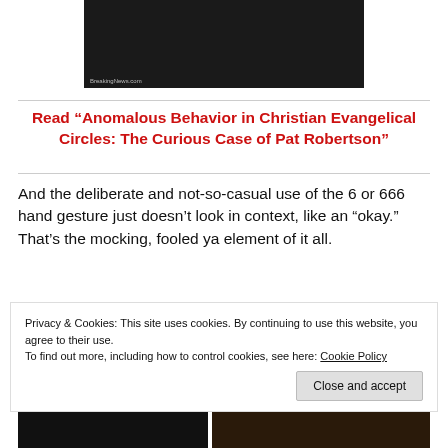[Figure (photo): Dark photo of two people at top of page]
Read “Anomalous Behavior in Christian Evangelical Circles: The Curious Case of Pat Robertson”
And the deliberate and not-so-casual use of the 6 or 666 hand gesture just doesn’t look in context, like an “okay.” That’s the mocking, fooled ya element of it all.
[Figure (photo): Partial photo visible behind cookie banner]
Privacy & Cookies: This site uses cookies. By continuing to use this website, you agree to their use.
To find out more, including how to control cookies, see here: Cookie Policy
[Figure (photo): Bottom row of two partial photos]